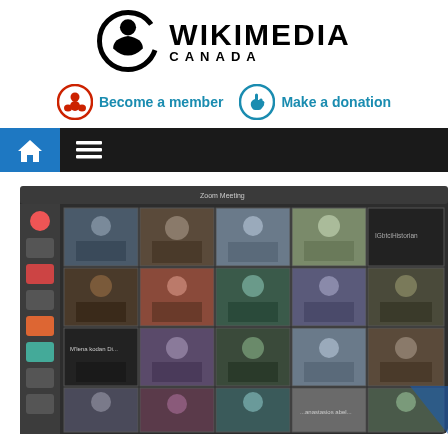[Figure (logo): Wikimedia Canada logo with circular icon and bold text WIKIMEDIA CANADA]
[Figure (infographic): Two call-to-action buttons: 'Become a member' with red circle icon and 'Make a donation' with blue circle icon, both in teal/blue bold text]
[Figure (screenshot): Dark navigation bar with blue home icon on left and white hamburger menu icon]
[Figure (screenshot): Screenshot of a Zoom meeting showing approximately 16 participants in a video grid on a dark Linux desktop with sidebar icons]